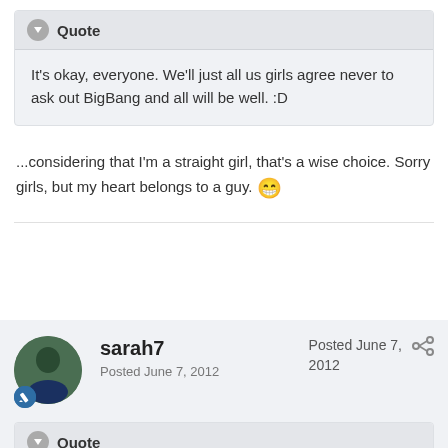Quote
It's okay, everyone. We'll just all us girls agree never to ask out BigBang and all will be well. :D
...considering that I'm a straight girl, that's a wise choice. Sorry girls, but my heart belongs to a guy. 😁
sarah7
Posted June 7, 2012
Posted June 7, 2012
Quote